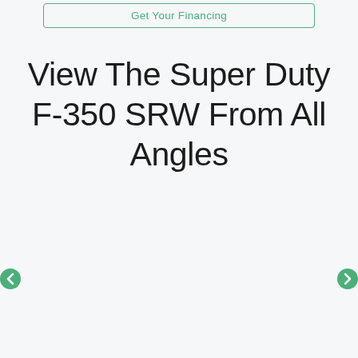Get Your Financing
View The Super Duty F-350 SRW From All Angles
[Figure (other): Image carousel area with left and right navigation arrows (green circles) for viewing the Super Duty F-350 SRW from all angles. The carousel content area is empty/white in this view.]